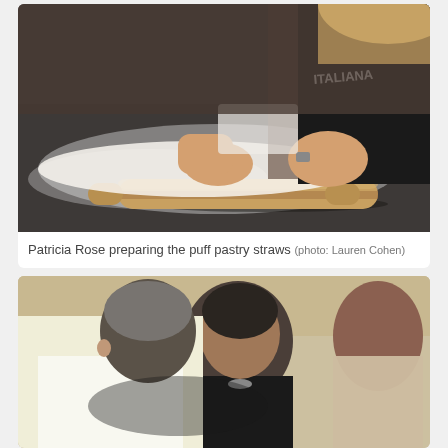[Figure (photo): Woman in black apron with 'ITALIANA' text rolling out dough on a dark granite countertop dusted with flour, using a wooden rolling pin]
Patricia Rose preparing the puff pastry straws (photo: Lauren Cohen)
[Figure (photo): Two women leaning over something in a kitchen, one in white top and one in black top, with a third person partially visible in the background]